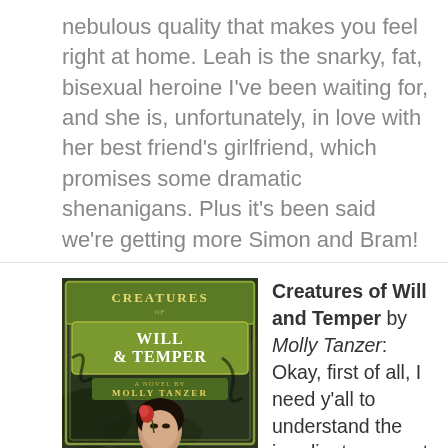nebulous quality that makes you feel right at home. Leah is the snarky, fat, bisexual heroine I've been waiting for, and she is, unfortunately, in love with her best friend's girlfriend, which promises some dramatic shenanigans. Plus it's been said we're getting more Simon and Bram!
[Figure (illustration): Book cover of 'Creatures of Will & Temper' by Molly Tanzer, showing ornate green decorative border with title text and a woman's face with a flower]
Creatures of Will and Temper by Molly Tanzer: Okay, first of all, I need y'all to understand the inordinate amount of admiration I have for this cover. Just. Look